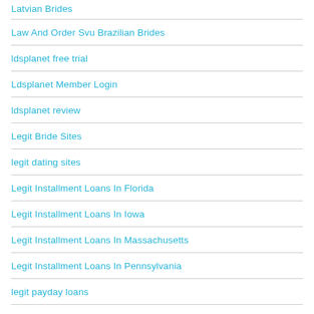Latvian Brides
Law And Order Svu Brazilian Brides
ldsplanet free trial
Ldsplanet Member Login
ldsplanet review
Legit Bride Sites
legit dating sites
Legit Installment Loans In Florida
Legit Installment Loans In Iowa
Legit Installment Loans In Massachusetts
Legit Installment Loans In Pennsylvania
legit payday loans
Legit Title Loans In Arizona